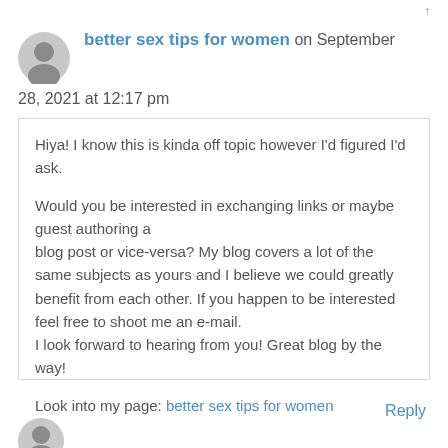↑
better sex tips for women on September 28, 2021 at 12:17 pm
Hiya! I know this is kinda off topic however I'd figured I'd ask.

Would you be interested in exchanging links or maybe guest authoring a blog post or vice-versa? My blog covers a lot of the same subjects as yours and I believe we could greatly benefit from each other. If you happen to be interested feel free to shoot me an e-mail. I look forward to hearing from you! Great blog by the way!

Look into my page: better sex tips for women
Reply